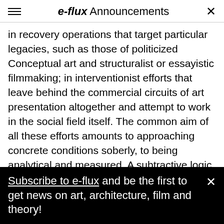e-flux Announcements
in recovery operations that target particular legacies, such as those of politicized Conceptual art and structuralist or essayistic filmmaking; in interventionist efforts that leave behind the commercial circuits of art presentation altogether and attempt to work in the social field itself. The common aim of all these efforts amounts to approaching concrete conditions soberly, to being analytical and measured. A subtractive logic is the general animating force: take away—subjective imprint, gratuitous ornament, traces of skill, commercial viability, ambivalent postures, ideological residue, and so forth—until a potent and
Subscribe to e-flux and be the first to get news on art, architecture, film and theory!